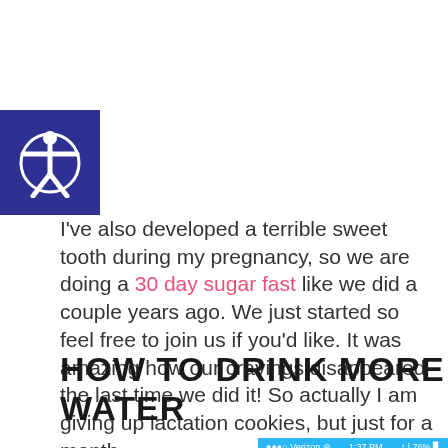[Figure (logo): Accessibility icon — white figure with arms outstretched in a circle on a dark blue/indigo square background]
I've also developed a terrible sweet tooth during my pregnancy, so we are doing a 30 day sugar fast like we did a couple years ago. We just started so feel free to join us if you'd like. It was amazing how our cravings disappeared the last time we did it! So actually I am giving up lactation cookies, but just for a month.
HOW TO DRINK MORE WATER
[Figure (screenshot): iPhone screenshot showing Verizon carrier, 1:37 PM time, 76% battery, with a blue calendar navigation bar showing 'Monday  4 May 2015' with left and right arrows, and partial text below reading 'Only 00 oz to go!']